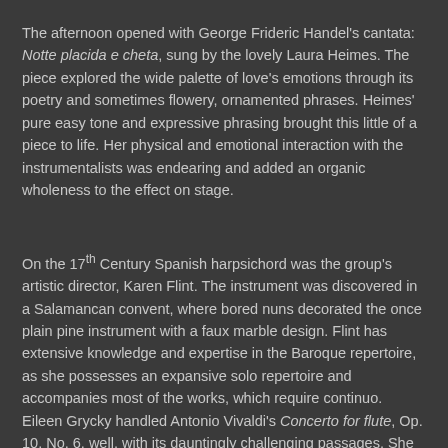The afternoon opened with George Frideric Handel's cantata: Notte placida e cheta, sung by the lovely Laura Heimes. The piece explored the wide palette of love's emotions through its poetry and sometimes flowery, ornamented phrases. Heimes' pure easy tone and expressive phrasing brought this little of a piece to life. Her physical and emotional interaction with the instrumentalists was endearing and added an organic wholeness to the effect on stage.
On the 17th Century Spanish harpsichord was the group's artistic director, Karen Flint. The instrument was discovered in a Salamancan convent, where bored nuns decorated the once plain pine instrument with a faux marble design. Flint has extensive knowledge and expertise in the Baroque repertoire, as she possesses an expansive solo repertoire and accompanies most of the works, which require continuo. Eileen Grycky handled Antonio Vivaldi's Concerto for flute, Op. 10, No. 6, well, with its dauntingly challenging passages. She was beautifully supported by the ensemble.